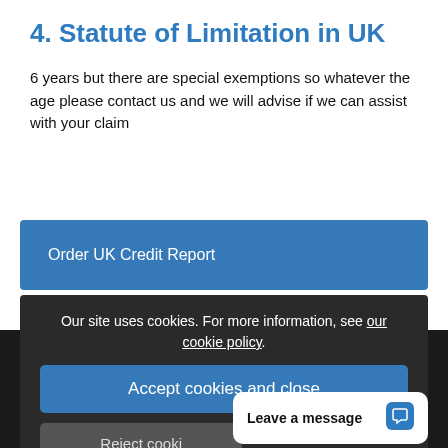4. Statute of Limitation in UK
6 years but there are special exemptions so whatever the age please contact us and we will advise if we can assist with your claim
Order UK Credit Report
Our site uses cookies. For more information, see our cookie policy.
Accept cookies and close
Find a Person in
UK Debt Collection
Reject cooki
Leave a message